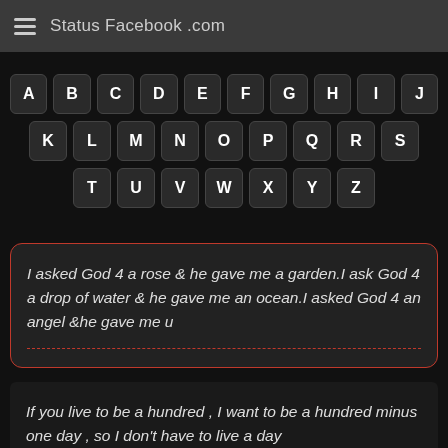Status Facebook .com
[Figure (other): Alphabet keyboard layout with keys A-Z arranged in three rows on a dark background]
I asked God 4 a rose & he gave me a garden.I ask God 4 a drop of water & he gave me an ocean.I asked God 4 an angel &he gave me u
If you live to be a hundred , I want to be a hundred minus one day , so I don't have to live a day